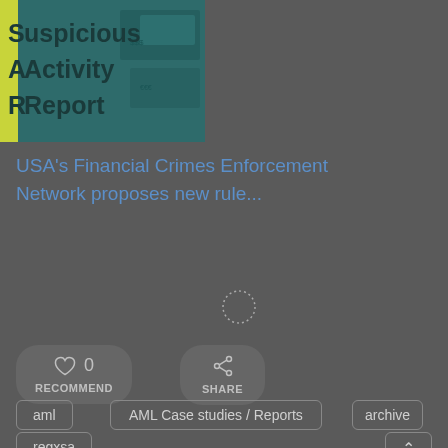[Figure (illustration): Thumbnail image of a Suspicious Activity Report document cover with teal background, yellow-green left bar, and partially visible text reading 'suspicious Activity Report']
USA's Financial Crimes Enforcement Network proposes new rule...
[Figure (other): Loading spinner circle icon]
♡ 0   RECOMMEND
⑂   SHARE
aml
AML Case studies / Reports
archive
regxsa